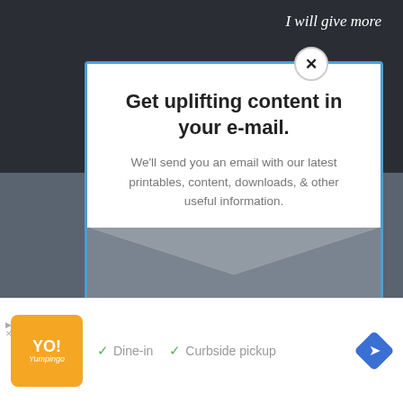[Figure (screenshot): Dark background webpage with partially visible text 'I will give more' in top right corner of a video area]
Get uplifting content in your e-mail.
We'll send you an email with our latest printables, content, downloads, & other useful information.
Email
[Figure (screenshot): Advertisement bar showing YO! Yumpingo logo, Dine-in and Curbside pickup options with checkmarks, and a blue navigation arrow button]